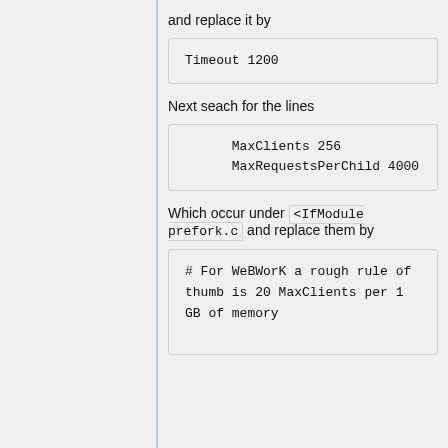and replace it by
Timeout 1200
Next seach for the lines
MaxClients 256
      MaxRequestsPerChild 4000
Which occur under <IfModule prefork.c and replace them by
# For WeBWorK a rough rule of thumb is 20 MaxClients per 1 GB of memory